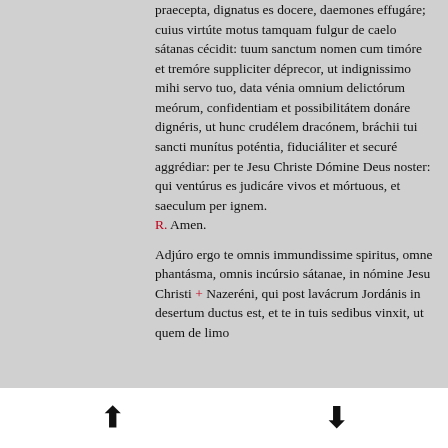praecepta, dignatus es docere, daemones effugáre; cuius virtúte motus tamquam fulgur de caelo sátanas cécidit: tuum sanctum nomen cum timóre et tremóre suppliciter déprecor, ut indignissimo mihi servo tuo, data vénia omnium delictórum meórum, confidentiam et possibilitátem donáre dignéris, ut hunc crudélem dracónem, bráchii tui sancti munítus poténtia, fiduciáliter et securé aggrédiar: per te Jesu Christe Dómine Deus noster: qui ventúrus es judicáre vivos et mórtuous, et saeculum per ignem.
R. Amen.

Adjúro ergo te omnis immundissime spiritus, omne phantásma, omnis incúrsio sátanae, in nómine Jesu Christi + Nazeréni, qui post lavácrum Jordánis in desertum ductus est, et te in tuis sedibus vinxit, ut quem de limo
[Figure (other): Navigation footer bar with up arrow and down arrow buttons]